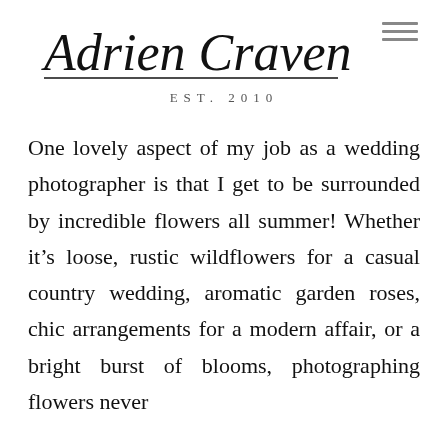[Figure (logo): Cursive signature logo reading 'Adrien Craven' in black script]
EST. 2010
One lovely aspect of my job as a wedding photographer is that I get to be surrounded by incredible flowers all summer! Whether it’s loose, rustic wildflowers for a casual country wedding, aromatic garden roses, chic arrangements for a modern affair, or a bright burst of blooms, photographing flowers never gets old...